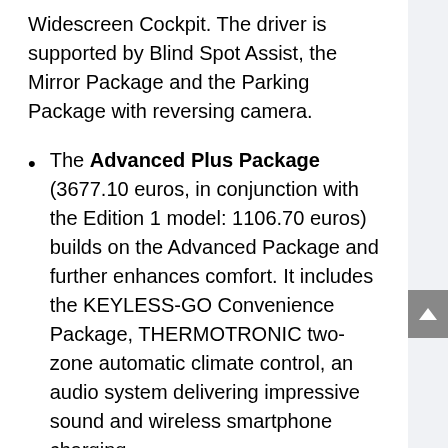Widescreen Cockpit. The driver is supported by Blind Spot Assist, the Mirror Package and the Parking Package with reversing camera.
The Advanced Plus Package (3677.10 euros, in conjunction with the Edition 1 model: 1106.70 euros) builds on the Advanced Package and further enhances comfort. It includes the KEYLESS-GO Convenience Package, THERMOTRONIC two-zone automatic climate control, an audio system delivering impressive sound and wireless smartphone charging.
The Premium Package (5557.30 euros, in conjunction with the Edition 1 model: 2986.90 euros) enhances the scope of the Advanced and Advanced Plus Packages by the addition